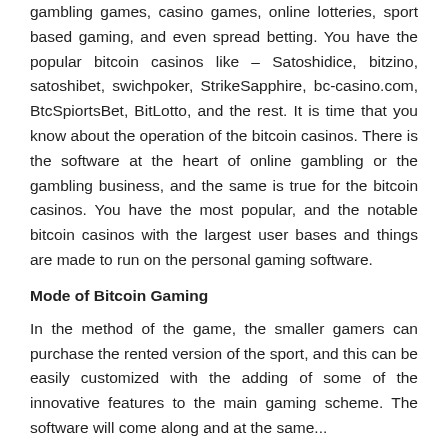gambling games, casino games, online lotteries, sport based gaming, and even spread betting. You have the popular bitcoin casinos like – Satoshidice, bitzino, satoshibet, swichpoker, StrikeSapphire, bc-casino.com, BtcSpiortsBet, BitLotto, and the rest. It is time that you know about the operation of the bitcoin casinos. There is the software at the heart of online gambling or the gambling business, and the same is true for the bitcoin casinos. You have the most popular, and the notable bitcoin casinos with the largest user bases and things are made to run on the personal gaming software.
Mode of Bitcoin Gaming
In the method of the game, the smaller gamers can purchase the rented version of the sport, and this can be easily customized with the adding of some of the innovative features to the main gaming scheme. The software will come along and at the same...